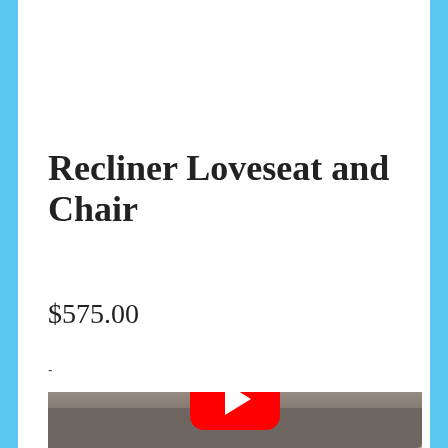Recliner Loveseat and Chair
$575.00
-
[Figure (photo): Photo of a gray/taupe recliner loveseat sofa with cushioned back and seat, viewed from above/front angle, with a YouTube play button overlay in the center]